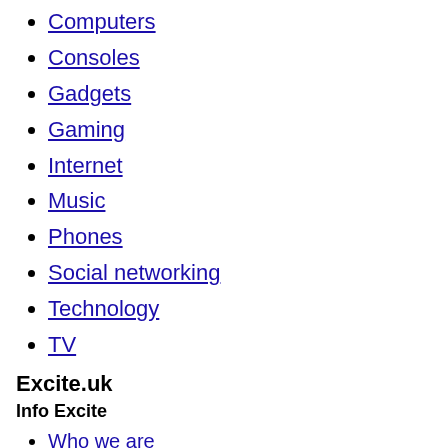Computers
Consoles
Gadgets
Gaming
Internet
Music
Phones
Social networking
Technology
TV
Excite.uk
Info Excite
Who we are
Privacy Policy
Terms of Service
Feedback
GDPR
Excite Europe
Excite Italia